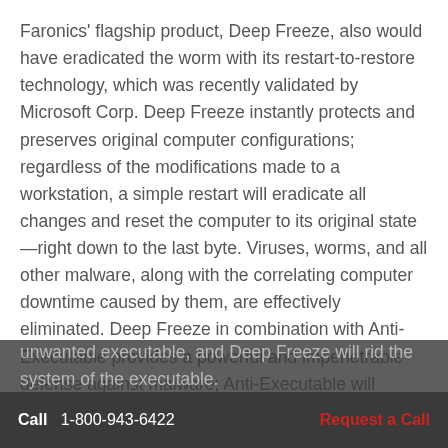Faronics' flagship product, Deep Freeze, also would have eradicated the worm with its restart-to-restore technology, which was recently validated by Microsoft Corp. Deep Freeze instantly protects and preserves original computer configurations; regardless of the modifications made to a workstation, a simple restart will eradicate all changes and reset the computer to its original state—right down to the last byte. Viruses, worms, and all other malware, along with the correlating computer downtime caused by them, are effectively eliminated. Deep Freeze in combination with Anti-Executable provides a powerful and impenetrable defense against malware; Anti-Executable will prevent the installation of an unwanted executable, and Deep Freeze will rid the system of the executable.
Call  1-800-943-6422    Request a Call